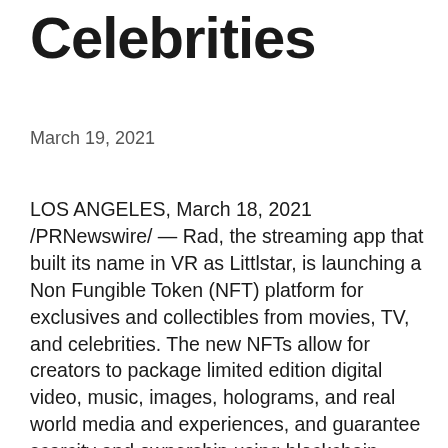Celebrities
March 19, 2021
LOS ANGELES, March 18, 2021 /PRNewswire/ — Rad, the streaming app that built its name in VR as Littlstar, is launching a Non Fungible Token (NFT) platform for exclusives and collectibles from movies, TV, and celebrities. The new NFTs allow for creators to package limited edition digital video, music, images, holograms, and real world media and experiences, and guarantee scarcity and ownership using blockchain technology. Rad's NFT support launches in April 2021. Pre-launch information for creators can be found at https://nft.rad.live/.